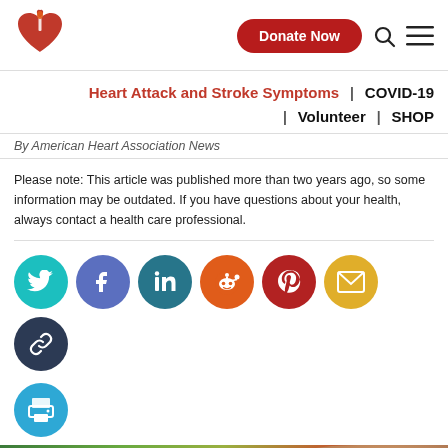[Figure (logo): American Heart Association logo — red heart with flame and torch]
Donate Now
Heart Attack and Stroke Symptoms  |  COVID-19  |  Volunteer  |  SHOP
By American Heart Association News
Please note: This article was published more than two years ago, so some information may be outdated. If you have questions about your health, always contact a health care professional.
[Figure (infographic): Social sharing icons row: Twitter (teal), Facebook (blue-purple), LinkedIn (dark teal), Reddit (orange), Pinterest (dark red), Mail (yellow), Link (dark navy), Print (blue)]
[Figure (photo): Partial photo of a person outdoors with blurred colorful background]